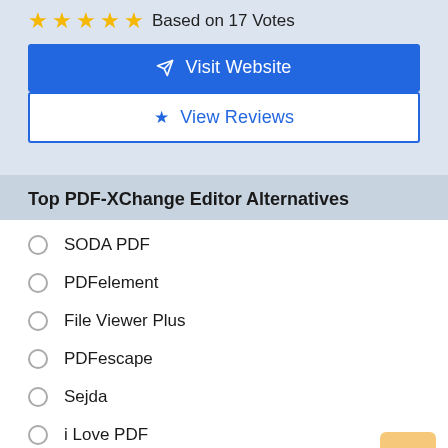★★★★★ Based on 17 Votes
✈ Visit Website
★ View Reviews
Top PDF-XChange Editor Alternatives
SODA PDF
PDFelement
File Viewer Plus
PDFescape
Sejda
i Love PDF
CutePDF